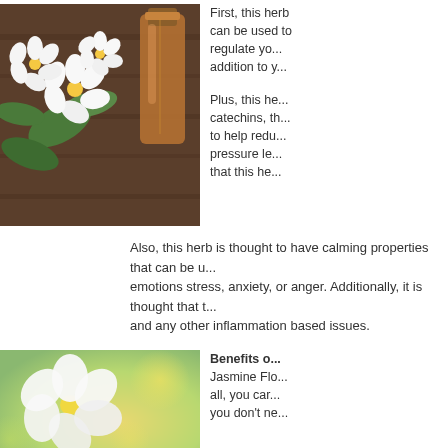[Figure (photo): White jasmine flowers with green leaves on a wooden surface next to an amber glass essential oil bottle]
First, this herb can be used to regulate yo... addition to y...
Plus, this herb... catechins, th... to help redu... pressure le... that this he...
Also, this herb is thought to have calming properties that can be u... emotions stress, anxiety, or anger. Additionally, it is thought that t... and any other inflammation based issues.
[Figure (photo): Close-up of white jasmine flowers with yellow centers against a soft green and yellow blurred background]
Benefits o...
Jasmine Flo... all, you car... you don't ne...